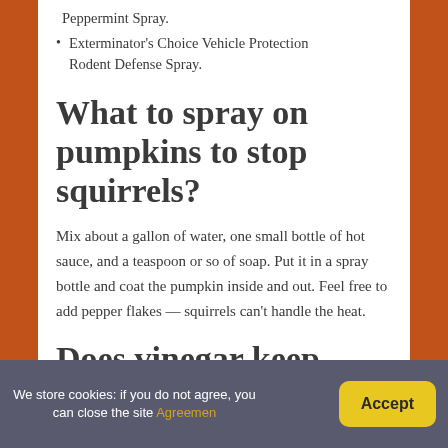Peppermint Spray.
Exterminator's Choice Vehicle Protection Rodent Defense Spray.
What to spray on pumpkins to stop squirrels?
Mix about a gallon of water, one small bottle of hot sauce, and a teaspoon or so of soap. Put it in a spray bottle and coat the pumpkin inside and out. Feel free to add pepper flakes — squirrels can't handle the heat.
Does vinegar keep
We store cookies: if you do not agree, you can close the site Agreemen